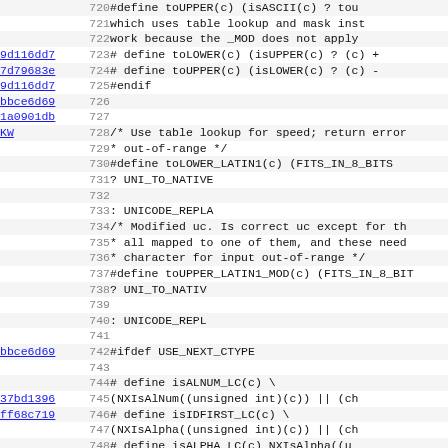[Figure (screenshot): Source code viewer showing lines 720-752 of a C/C++ header file with git blame annotations. Left column shows commit hashes as blue underlined links, middle column shows line numbers in gray, right column shows source code in monospace font. Code includes preprocessor macros for character type conversion and classification functions like toLOWER, toUPPER, toLOWER_LATIN1, toUPPER_LATIN1_MOD, isALNUM_LC, isIDFIRST_LC, isALPHA_LC, isSPACE_LC, isDIGIT_LC, isUPPER_LC, and isLOWER_LC.]